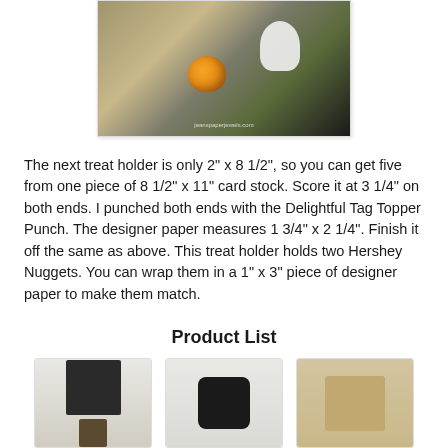[Figure (photo): Halloween treat holder craft photo showing a black box decorated with a pumpkin and ghost cutout, on a wooden background. Watermark reads jeanspaperjewels.com]
The next treat holder is only 2" x 8 1/2", so you can get five from one piece of 8 1/2" x 11" card stock. Score it at 3 1/4" on both ends. I punched both ends with the Delightful Tag Topper Punch. The designer paper measures 1 3/4" x 2 1/4". Finish it off the same as above. This treat holder holds two Hershey Nuggets. You can wrap them in a 1" x 3" piece of designer paper to make them match.
Product List
[Figure (photo): Stamp set product image showing dark stamp set packaging]
[Figure (photo): Ink pad product image showing black ink pad]
[Figure (photo): Ink pad product image showing tan/kraft colored ink pad]